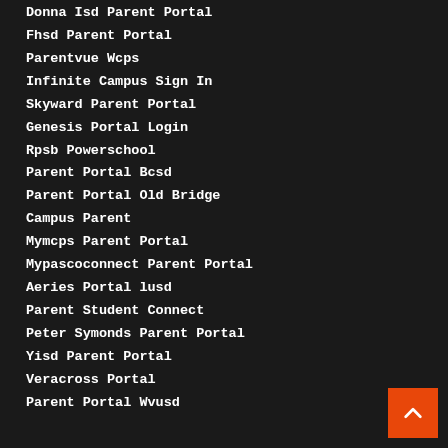Donna Isd Parent Portal
Fhsd Parent Portal
Parentvue Wcps
Infinite Campus Sign In
Skyward Parent Portal
Genesis Portal Login
Rpsb Powerschool
Parent Portal Bcsd
Parent Portal Old Bridge
Campus Parent
Mymcps Parent Portal
Mypascoconnect Parent Portal
Aeries Portal lusd
Parent Student Connect
Peter Symonds Parent Portal
Yisd Parent Portal
Veracross Portal
Parent Portal Wvusd